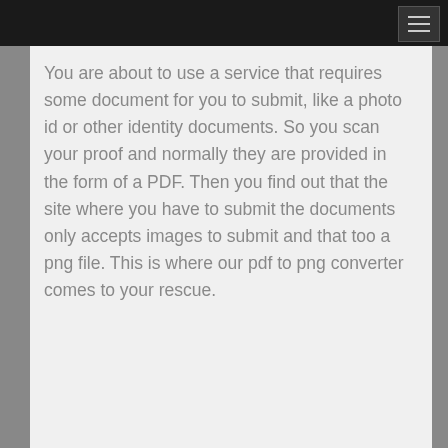You are about to use a service that requires some document for you to submit, like a photo id or other identity documents. So you scan your proof and normally they are provided in the form of a PDF. Then you find out that the site where you have to submit the documents only accepts images to submit and that too a png file. This is where our pdf to png converter comes to your rescue.